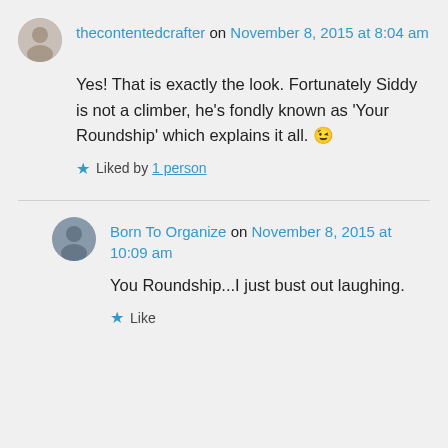thecontentedcrafter on November 8, 2015 at 8:04 am
Yes! That is exactly the look. Fortunately Siddy is not a climber, he's fondly known as 'Your Roundship' which explains it all. 🙂
Liked by 1 person
Born To Organize on November 8, 2015 at 10:09 am
You Roundship...I just bust out laughing.
Like